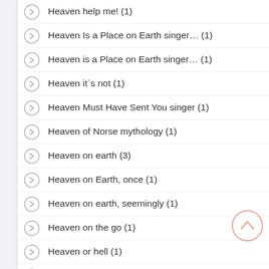Heaven help me! (1)
Heaven Is a Place on Earth singer… (1)
Heaven is a Place on Earth singer… (1)
Heaven it`s not (1)
Heaven Must Have Sent You singer (1)
Heaven of Norse mythology (1)
Heaven on earth (3)
Heaven on Earth, once (1)
Heaven on earth, seemingly (1)
Heaven on the go (1)
Heaven or hell (1)
Heaven or hell. (1)
Heaven will protect her (1)
Heaven`s --- Gates (1)
Heaven`s Gate (1)